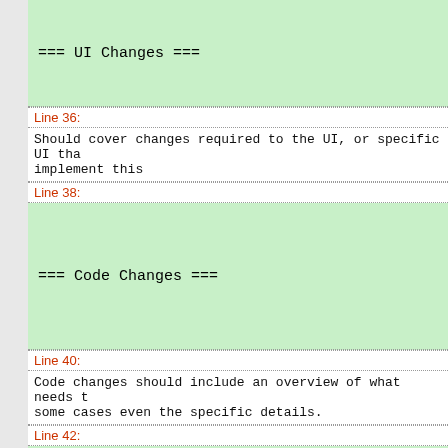=== UI Changes ===
Line 36:
Should cover changes required to the UI, or specific UI tha implement this
Line 38:
=== Code Changes ===
Line 40:
Code changes should include an overview of what needs t some cases even the specific details.
Line 42:
=== Migration ===